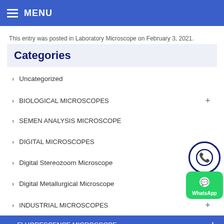MENU
This entry was posted in Laboratory Microscope on February 3, 2021.
Categories
Uncategorized
BIOLOGICAL MICROSCOPES
SEMEN ANALYSIS MICROSCOPE
DIGITAL MICROSCOPES
Digital Stereozoom Microscope
Digital Metallurgical Microscope
INDUSTRIAL MICROSCOPES
FLUORESCENCE MICROSCOPE